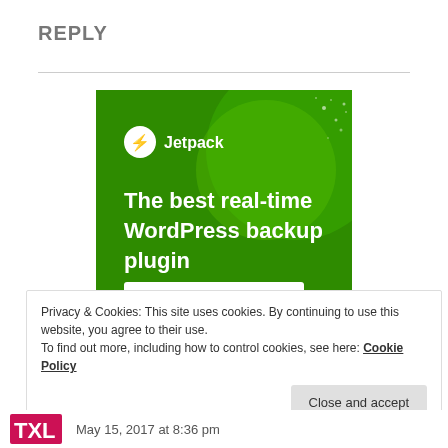REPLY
[Figure (screenshot): Jetpack advertisement banner with green background showing 'The best real-time WordPress backup plugin' and a 'Back up your site' button]
Privacy & Cookies: This site uses cookies. By continuing to use this website, you agree to their use.
To find out more, including how to control cookies, see here: Cookie Policy
Close and accept
May 15, 2017 at 8:36 pm